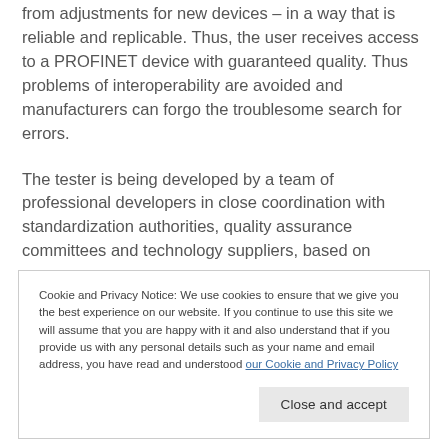from adjustments for new devices – in a way that is reliable and replicable. Thus, the user receives access to a PROFINET device with guaranteed quality. Thus problems of interoperability are avoided and manufacturers can forgo the troublesome search for errors.
The tester is being developed by a team of professional developers in close coordination with standardization authorities, quality assurance committees and technology suppliers, based on
Cookie and Privacy Notice: We use cookies to ensure that we give you the best experience on our website. If you continue to use this site we will assume that you are happy with it and also understand that if you provide us with any personal details such as your name and email address, you have read and understood our Cookie and Privacy Policy
identical tests in-house. The Phlabs were most